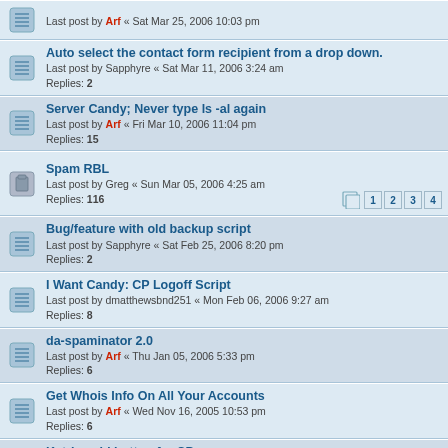Last post by Arf « Sat Mar 25, 2006 10:03 pm
Auto select the contact form recipient from a drop down.
Last post by Sapphyre « Sat Mar 11, 2006 3:24 am
Replies: 2
Server Candy; Never type ls -al again
Last post by Arf « Fri Mar 10, 2006 11:04 pm
Replies: 15
Spam RBL
Last post by Greg « Sun Mar 05, 2006 4:25 am
Replies: 116 [pages 1 2 3 4]
Bug/feature with old backup script
Last post by Sapphyre « Sat Feb 25, 2006 8:20 pm
Replies: 2
I Want Candy: CP Logoff Script
Last post by dmatthewsbnd251 « Mon Feb 06, 2006 9:27 am
Replies: 8
da-spaminator 2.0
Last post by Arf « Thu Jan 05, 2006 5:33 pm
Replies: 6
Get Whois Info On All Your Accounts
Last post by Arf « Wed Nov 16, 2005 10:53 pm
Replies: 6
Katrina aid button for CP
Last post by Arf « Fri Sep 02, 2005 11:06 pm
Replies: 2
Customer Management beyond Control Panel
Last post by bbulb « Tue Jun 21, 2005 12:36 am
Replies: 2
Set max size of email boxes across all accounts